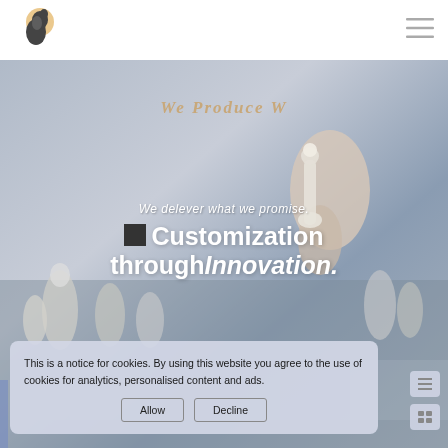[Figure (logo): Chess knight horse logo with sun/circular background, orange and brown tones]
[Figure (illustration): Hamburger menu icon (three horizontal lines) in top right corner]
[Figure (photo): Background photo of chess pieces on a board, muted blue-grey tones, a hand moving a chess piece]
We Produce W
We delever what we promise.
Customization through Innovation.
This is a notice for cookies. By using this website you agree to the use of cookies for analytics, personalised content and ads.
Allow
Decline